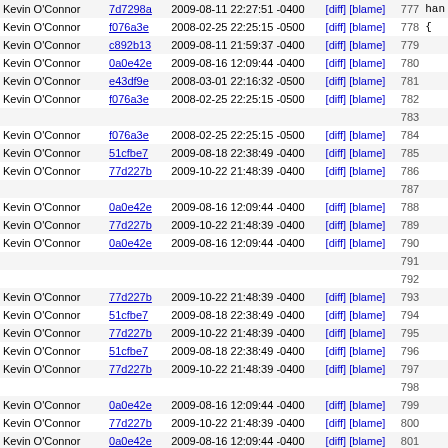| Author | Commit | Date/Time | Links | Line | Code |
| --- | --- | --- | --- | --- | --- |
| Kevin O'Connor | 7d7298a | 2009-08-11 22:27:51 -0400 | [diff] [blame] | 777 | han |
| Kevin O'Connor | f076a3e | 2008-02-25 22:25:15 -0500 | [diff] [blame] | 778 | { |
| Kevin O'Connor | c892b13 | 2009-08-11 21:59:37 -0400 | [diff] [blame] | 779 |  |
| Kevin O'Connor | 0a0e42e | 2009-08-16 12:09:44 -0400 | [diff] [blame] | 780 |  |
| Kevin O'Connor | e43df9e | 2008-03-01 22:16:32 -0500 | [diff] [blame] | 781 |  |
| Kevin O'Connor | f076a3e | 2008-02-25 22:25:15 -0500 | [diff] [blame] | 782 |  |
|  |  |  |  | 783 |  |
| Kevin O'Connor | f076a3e | 2008-02-25 22:25:15 -0500 | [diff] [blame] | 784 |  |
| Kevin O'Connor | 51cfbe7 | 2009-08-18 22:38:49 -0400 | [diff] [blame] | 785 |  |
| Kevin O'Connor | 77d227b | 2009-10-22 21:48:39 -0400 | [diff] [blame] | 786 |  |
|  |  |  |  | 787 |  |
| Kevin O'Connor | 0a0e42e | 2009-08-16 12:09:44 -0400 | [diff] [blame] | 788 |  |
| Kevin O'Connor | 77d227b | 2009-10-22 21:48:39 -0400 | [diff] [blame] | 789 |  |
| Kevin O'Connor | 0a0e42e | 2009-08-16 12:09:44 -0400 | [diff] [blame] | 790 |  |
|  |  |  |  | 791 |  |
|  |  |  |  | 792 |  |
| Kevin O'Connor | 77d227b | 2009-10-22 21:48:39 -0400 | [diff] [blame] | 793 |  |
| Kevin O'Connor | 51cfbe7 | 2009-08-18 22:38:49 -0400 | [diff] [blame] | 794 |  |
| Kevin O'Connor | 77d227b | 2009-10-22 21:48:39 -0400 | [diff] [blame] | 795 |  |
| Kevin O'Connor | 51cfbe7 | 2009-08-18 22:38:49 -0400 | [diff] [blame] | 796 |  |
| Kevin O'Connor | 77d227b | 2009-10-22 21:48:39 -0400 | [diff] [blame] | 797 |  |
|  |  |  |  | 798 |  |
| Kevin O'Connor | 0a0e42e | 2009-08-16 12:09:44 -0400 | [diff] [blame] | 799 |  |
| Kevin O'Connor | 77d227b | 2009-10-22 21:48:39 -0400 | [diff] [blame] | 800 |  |
| Kevin O'Connor | 0a0e42e | 2009-08-16 12:09:44 -0400 | [diff] [blame] | 801 |  |
|  |  |  |  | 802 |  |
|  |  |  |  | 803 | fai |
|  |  |  |  | 804 |  |